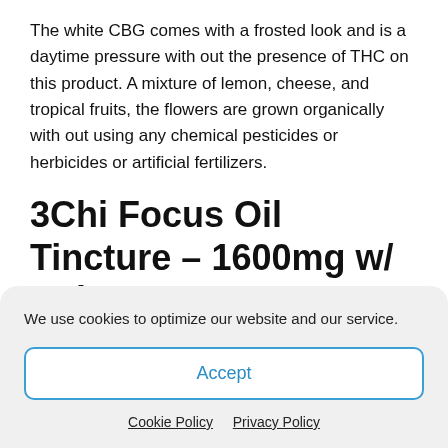The white CBG comes with a frosted look and is a daytime pressure with out the presence of THC on this product. A mixture of lemon, cheese, and tropical fruits, the flowers are grown organically with out using any chemical pesticides or herbicides or artificial fertilizers.
3Chi Focus Oil Tincture – 1600mg w/ Delta 8 THC
[Figure (photo): Gray placeholder rectangle representing a product image]
We use cookies to optimize our website and our service.
Accept
Cookie Policy   Privacy Policy